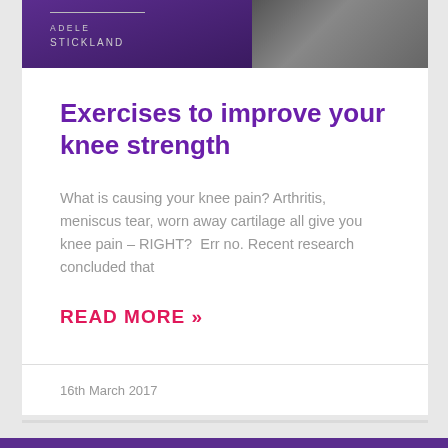[Figure (photo): Header image showing Adele Stickland branding with purple background on left and a photo on right]
Exercises to improve your knee strength
What is causing your knee pain? Arthritis, meniscus tear, worn away cartilage all give you knee pain – RIGHT?  Err no. Recent research concluded that
READ MORE »
16th March 2017